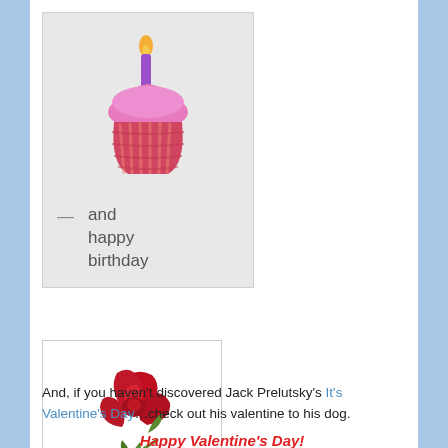[Figure (illustration): A pink cupcake with a purple candle and orange flame, on a light gray background, with text '— and happy birthday' below the image]
[Figure (illustration): A red rose with green stem and leaves on a white background with thin border]
And, if you haven't discovered Jack Prelutsky's It's Valentine's Day…check out his valentine to his dog.
Happy Valentine's Day!